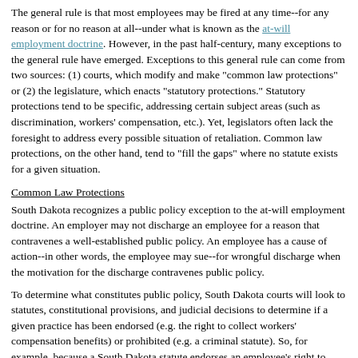The general rule is that most employees may be fired at any time--for any reason or for no reason at all--under what is known as the at-will employment doctrine. However, in the past half-century, many exceptions to the general rule have emerged. Exceptions to this general rule can come from two sources: (1) courts, which modify and make "common law protections" or (2) the legislature, which enacts "statutory protections." Statutory protections tend to be specific, addressing certain subject areas (such as discrimination, workers' compensation, etc.). Yet, legislators often lack the foresight to address every possible situation of retaliation. Common law protections, on the other hand, tend to "fill the gaps" where no statute exists for a given situation.
Common Law Protections
South Dakota recognizes a public policy exception to the at-will employment doctrine. An employer may not discharge an employee for a reason that contravenes a well-established public policy. An employee has a cause of action--in other words, the employee may sue--for wrongful discharge when the motivation for the discharge contravenes public policy.
To determine what constitutes public policy, South Dakota courts will look to statutes, constitutional provisions, and judicial decisions to determine if a given practice has been endorsed (e.g. the right to collect workers' compensation benefits) or prohibited (e.g. a criminal statute). So, for example, because a South Dakota statute endorses an employee's right to collect workers' compensation benefits, an employer who retaliates against an employee for invoking that right would be contravening public policy. On the other side of the same coin, because criminal statutes prohibit perjury, an employer who coerces an employee to commit perjury by threats of reprisal is also contravening public policy. In both